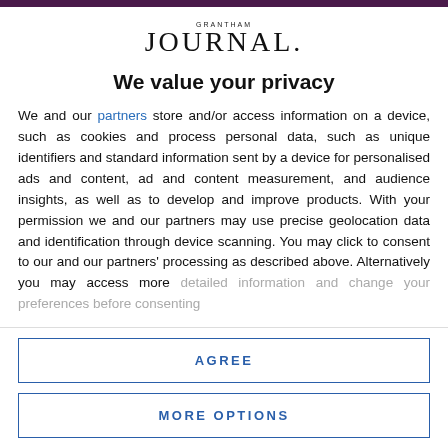[Figure (logo): Grantham Journal logo with small 'GRANTHAM' text above large 'JOURNAL.' serif text]
We value your privacy
We and our partners store and/or access information on a device, such as cookies and process personal data, such as unique identifiers and standard information sent by a device for personalised ads and content, ad and content measurement, and audience insights, as well as to develop and improve products. With your permission we and our partners may use precise geolocation data and identification through device scanning. You may click to consent to our and our partners' processing as described above. Alternatively you may access more detailed information and change your preferences before consenting
AGREE
MORE OPTIONS